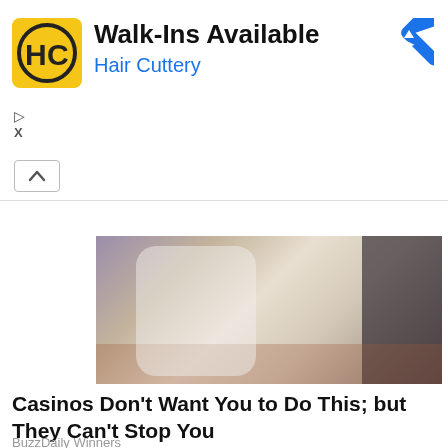[Figure (screenshot): Hair Cuttery advertisement banner with logo, title 'Walk-Ins Available', subtitle 'Hair Cuttery', navigation diamond icon, and ad controls]
[Figure (photo): Person in white blazer and white pants seated in dark chair, casino/hotel carpet visible in background]
Casinos Don't Want You to Do This; but They Can't Stop You
BuzzDaily Winners
[Figure (illustration): Cartoon illustration showing animated legs/feet running, partial view at bottom of page]